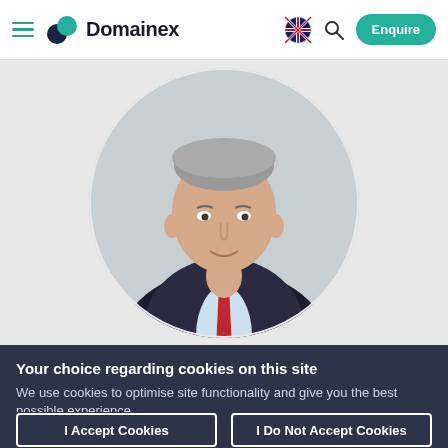Domainex — navigation header with hamburger menu, language selector, search, and Enquire button
[Figure (photo): Circular cropped headshot of a middle-aged man with grey hair, wearing a dark suit, light blue shirt, and red tie, against a light grey background.]
Your choice regarding cookies on this site
We use cookies to optimise site functionality and give you the best possible experience.
I Accept Cookies
I Do Not Accept Cookies